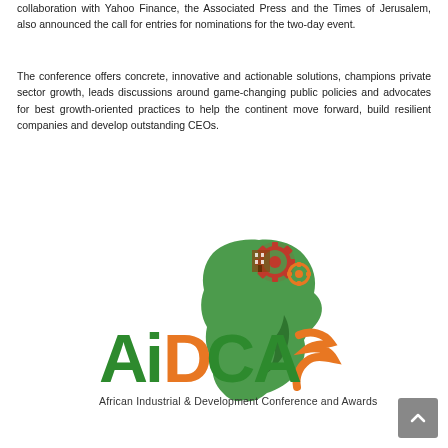collaboration with Yahoo Finance, the Associated Press and the Times of Jerusalem, also announced the call for entries for nominations for the two-day event.
The conference offers concrete, innovative and actionable solutions, champions private sector growth, leads discussions around game-changing public policies and advocates for best growth-oriented practices to help the continent move forward, build resilient companies and develop outstanding CEOs.
[Figure (logo): AiDCA logo — African Industrial & Development Conference and Awards. Features green text 'AiDCA' with orange 'D', an Africa continent silhouette in green, and industrial gear/building icons on top in dark red and orange, with subtitle 'African Industrial & Development Conference and Awards'.]